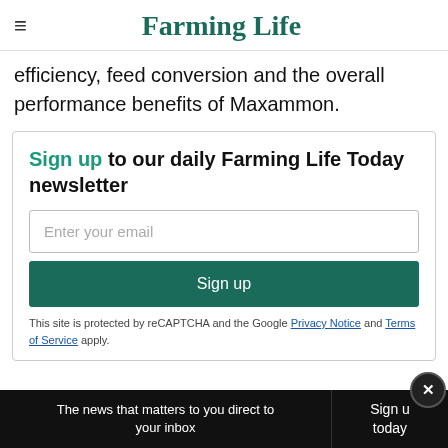Farming Life
efficiency, feed conversion and the overall performance benefits of Maxammon.
Sign up to our daily Farming Life Today newsletter
Enter your email
Sign up
This site is protected by reCAPTCHA and the Google Privacy Notice and Terms of Service apply.
The news that matters to you direct to your inbox   Sign up today